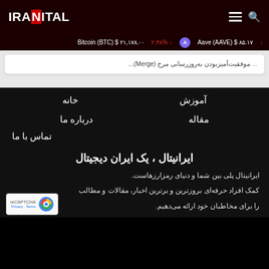IRANITAL
Aave (AAVE) $ ۸۵.۱۷  ↓  ۲.۳۸%  Bitcoin (BTC) $ ۲۱,۱۷۸.۰۰
موفقیت‌آمیزبودن به‌روزرسانی مرج (Merge)...
خانه
آموزش
درباره ما
مقاله
تماس با ما
ایرانیتال ، یک ایران دیجیتال
ایرانیتال پلی بین شما و دنیای رمزارزهاست. کمک افراد حرفه‌ای بروزترین و برترین اخبار، مقالات و مطالب را برای مخاطبان خود ارائه می‌دهیم.